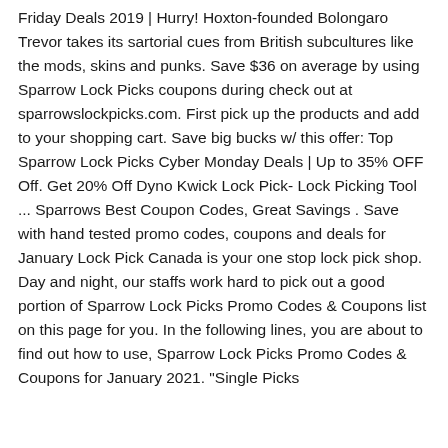Friday Deals 2019 | Hurry! Hoxton-founded Bolongaro Trevor takes its sartorial cues from British subcultures like the mods, skins and punks. Save $36 on average by using Sparrow Lock Picks coupons during check out at sparrowslockpicks.com. First pick up the products and add to your shopping cart. Save big bucks w/ this offer: Top Sparrow Lock Picks Cyber Monday Deals | Up to 35% OFF Off. Get 20% Off Dyno Kwick Lock Pick- Lock Picking Tool ... Sparrows Best Coupon Codes, Great Savings . Save with hand tested promo codes, coupons and deals for January Lock Pick Canada is your one stop lock pick shop. Day and night, our staffs work hard to pick out a good portion of Sparrow Lock Picks Promo Codes & Coupons list on this page for you. In the following lines, you are about to find out how to use, Sparrow Lock Picks Promo Codes & Coupons for January 2021. "Single Picks